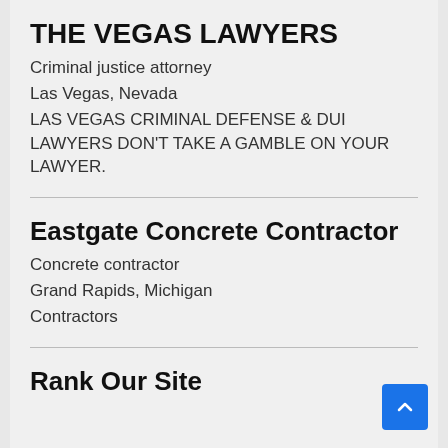THE VEGAS LAWYERS
Criminal justice attorney
Las Vegas, Nevada
LAS VEGAS CRIMINAL DEFENSE & DUI LAWYERS DON'T TAKE A GAMBLE ON YOUR LAWYER.
Eastgate Concrete Contractor
Concrete contractor
Grand Rapids, Michigan
Contractors
Rank Our Site